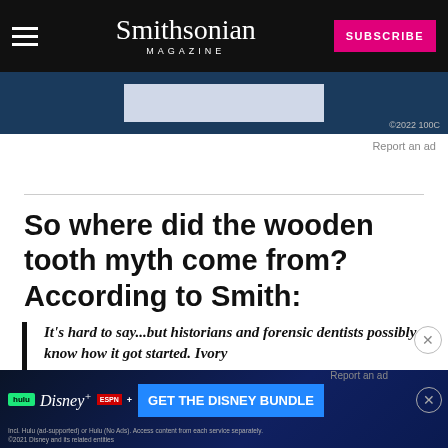Smithsonian MAGAZINE | SUBSCRIBE
[Figure (screenshot): Advertisement banner strip with copyright ©2022 100C]
Report an ad
So where did the wooden tooth myth come from? According to Smith:
It's hard to say...but historians and forensic dentists possibly know how it got started. Ivory and bone both have hairline fractures in them, ... Washington's ... over time the darkness of the wine started to darken the false teeth of the denture... The...
Report an ad
[Figure (screenshot): Disney Bundle advertisement banner: hulu, Disney+, ESPN+ - GET THE DISNEY BUNDLE. Incl. Hulu (ad-supported) or Hulu (No Ads). Access content from each service separately. ©2021 Disney and its related entities]